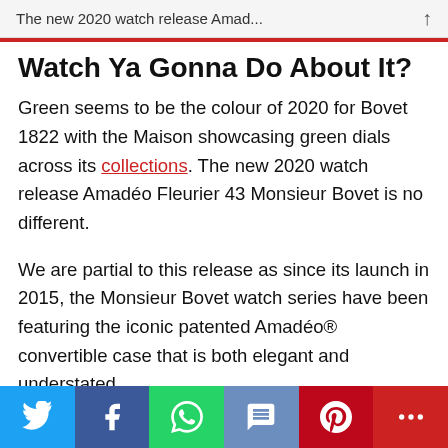The new 2020 watch release Amad...
Watch Ya Gonna Do About It?
Green seems to be the colour of 2020 for Bovet 1822 with the Maison showcasing green dials across its collections. The new 2020 watch release Amadéo Fleurier 43 Monsieur Bovet is no different.
We are partial to this release as since its launch in 2015, the Monsieur Bovet watch series have been featuring the iconic patented Amadéo® convertible case that is both elegant and understated.
Social share bar: Twitter, Facebook, WhatsApp, SMS, Pinterest, More